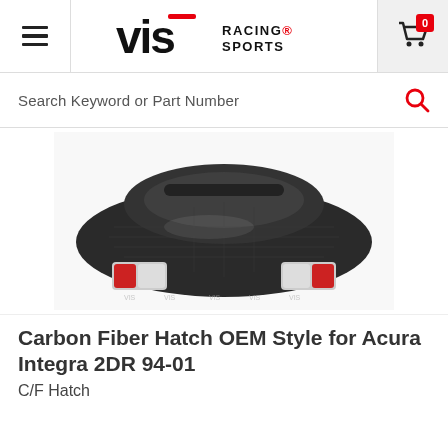VIS Racing Sports
Search Keyword or Part Number
[Figure (photo): Rear view of Acura Integra 2DR with carbon fiber hatch OEM style installed, showing the dark carbon fiber trunk lid, rear window, and tail lights, on a white background with VIS Racing Sports branding.]
Carbon Fiber Hatch OEM Style for Acura Integra 2DR 94-01
C/F Hatch